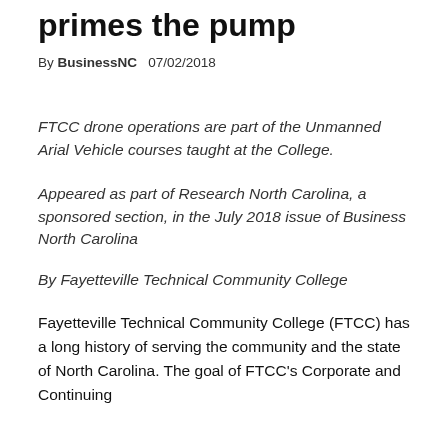primes the pump
By BusinessNC   07/02/2018
FTCC drone operations are part of the Unmanned Arial Vehicle courses taught at the College.
Appeared as part of Research North Carolina, a sponsored section, in the July 2018 issue of Business North Carolina
By Fayetteville Technical Community College
Fayetteville Technical Community College (FTCC) has a long history of serving the community and the state of North Carolina. The goal of FTCC's Corporate and Continuing